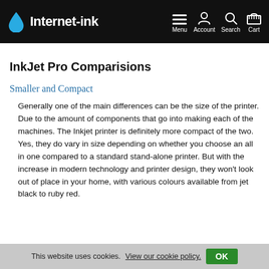Internet-ink — Menu, Account, Search, Cart
InkJet Pro Comparisions
Smaller and Compact
Generally one of the main differences can be the size of the printer. Due to the amount of components that go into making each of the machines. The Inkjet printer is definitely more compact of the two. Yes, they do vary in size depending on whether you choose an all in one compared to a standard stand-alone printer. But with the increase in modern technology and printer design, they won't look out of place in your home, with various colours available from jet black to ruby red.
This website uses cookies. View our cookie policy.  OK